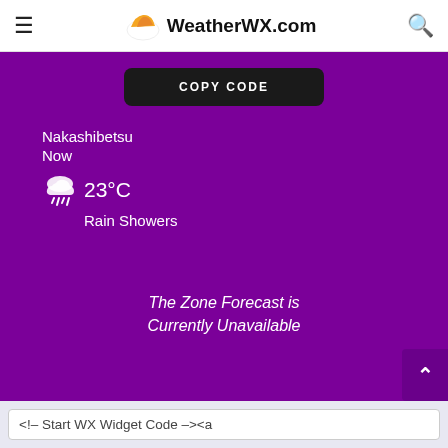WeatherWX.com
[Figure (screenshot): Purple weather widget section showing Nakashibetsu weather: 23°C Rain Showers, COPY CODE button, and Zone Forecast Unavailable message]
The Zone Forecast is Currently Unavailable
<!-- Start WX Widget Code --><a